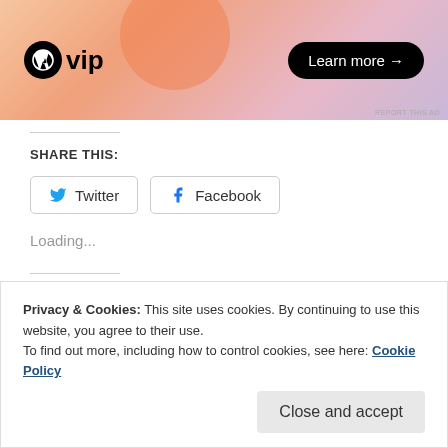[Figure (screenshot): WordPress VIP advertisement banner with gradient orange/pink/purple background, WordPress VIP logo on left, 'Learn more →' button on right, 'REPORT THIS AD' text at bottom right]
SHARE THIS:
Twitter  Facebook (share buttons)
Loading...
Related
Privacy & Cookies: This site uses cookies. By continuing to use this website, you agree to their use.
To find out more, including how to control cookies, see here: Cookie Policy
Close and accept
In "Awards"